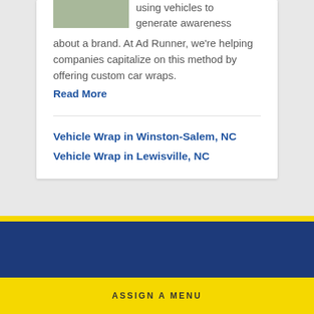[Figure (photo): Partial view of a car on a road with green grass, top portion cropped]
using vehicles to generate awareness about a brand. At Ad Runner, we're helping companies capitalize on this method by offering custom car wraps.
Read More
Vehicle Wrap in Winston-Salem, NC
Vehicle Wrap in Lewisville, NC
ASSIGN A MENU